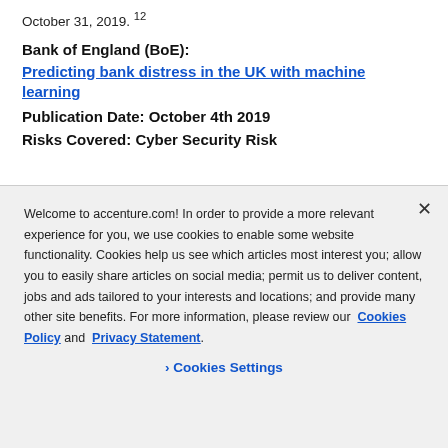October 31, 2019.¹²
Bank of England (BoE):
Predicting bank distress in the UK with machine learning
Publication Date: October 4th 2019
Risks Covered: Cyber Security Risk
Welcome to accenture.com! In order to provide a more relevant experience for you, we use cookies to enable some website functionality. Cookies help us see which articles most interest you; allow you to easily share articles on social media; permit us to deliver content, jobs and ads tailored to your interests and locations; and provide many other site benefits. For more information, please review our Cookies Policy and Privacy Statement.
Cookies Settings